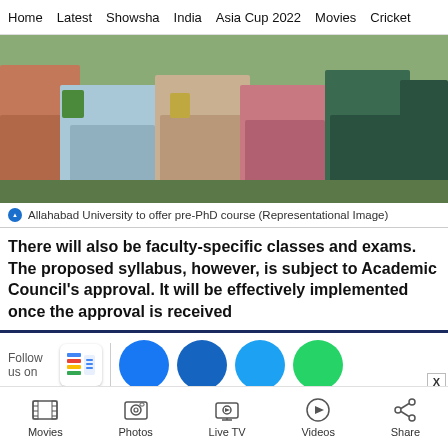Home | Latest | Showsha | India | Asia Cup 2022 | Movies | Cricket
[Figure (photo): Group of people/students standing outdoors, colorful clothing visible, representational image for Allahabad University pre-PhD course article]
Allahabad University to offer pre-PhD course (Representational Image)
There will also be faculty-specific classes and exams. The proposed syllabus, however, is subject to Academic Council's approval. It will be effectively implemented once the approval is received
[Figure (infographic): Follow us on social media row: Google News icon, Facebook circle, Facebook circle, Twitter circle, WhatsApp circle with X close button]
Movies | Photos | Live TV | Videos | Share